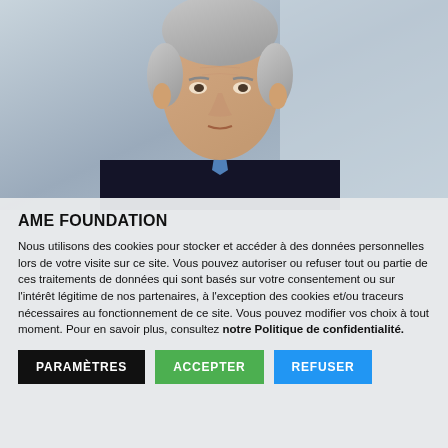[Figure (photo): Portrait of an elderly man in a dark suit and blue tie, with gray hair, photographed against a light gray blurred background.]
AME FOUNDATION
Nous utilisons des cookies pour stocker et accéder à des données personnelles lors de votre visite sur ce site. Vous pouvez autoriser ou refuser tout ou partie de ces traitements de données qui sont basés sur votre consentement ou sur l'intérêt légitime de nos partenaires, à l'exception des cookies et/ou traceurs nécessaires au fonctionnement de ce site. Vous pouvez modifier vos choix à tout moment. Pour en savoir plus, consultez notre Politique de confidentialité.
PARAMÈTRES
ACCEPTER
REFUSER